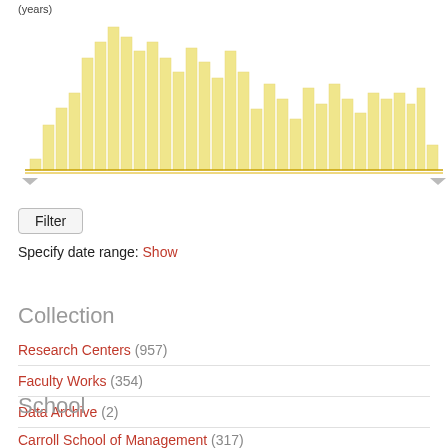[Figure (histogram): (years)]
Filter
Specify date range: Show
Collection
Research Centers (957)
Faculty Works (354)
Data Archive (2)
School
Carroll School of Management (317)
Arts and Sciences (48)